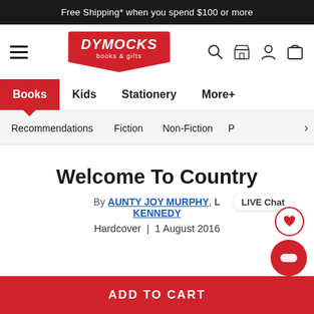Free Shipping* when you spend $100 or more
[Figure (logo): Dymocks books & gifts logo with hamburger menu and icons for search, store, account, cart]
Books
Kids
Stationery
More+
Recommendations
Fiction
Non-Fiction
Welcome To Country
By AUNTY JOY MURPHY, L... KENNEDY
Hardcover  |  1 August 2016
ADD TO CART